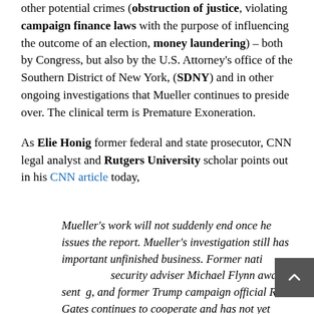other potential crimes (obstruction of justice, violating campaign finance laws with the purpose of influencing the outcome of an election, money laundering) – both by Congress, but also by the U.S. Attorney's office of the Southern District of New York, (SDNY) and in other ongoing investigations that Mueller continues to preside over. The clinical term is Premature Exoneration.
As Elie Honig former federal and state prosecutor, CNN legal analyst and Rutgers University scholar points out in his CNN article today,
Mueller's work will not suddenly end once he issues the report. Mueller's investigation still has important unfinished business. Former national security adviser Michael Flynn awaits sentencing, and former Trump campaign official Rick Gates continues to cooperate and has not yet been sentenced. Stone, the longtime Trump adviser, [continues below]